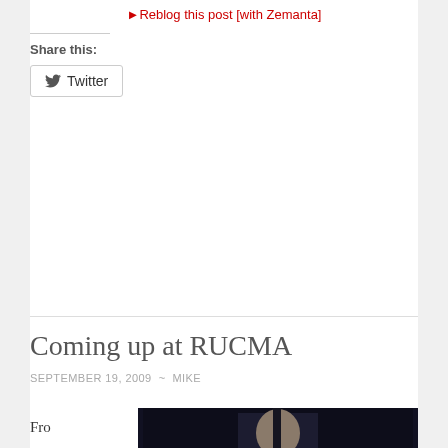Reblog this post [with Zemanta]
Share this:
Twitter
Coming up at RUCMA
SEPTEMBER 19, 2009  ~  MIKE
From No
[Figure (photo): A person photographed against a dark background on a stage or studio setting]